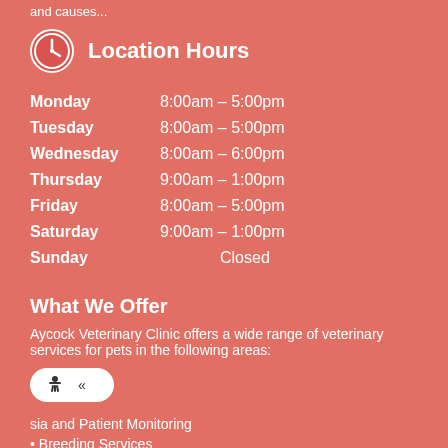and causes...
Location Hours
| Day | Hours |
| --- | --- |
| Monday | 8:00am – 5:00pm |
| Tuesday | 8:00am – 5:00pm |
| Wednesday | 8:00am – 6:00pm |
| Thursday | 9:00am – 1:00pm |
| Friday | 8:00am – 5:00pm |
| Saturday | 9:00am – 1:00pm |
| Sunday | Closed |
What We Offer
Aycock Veterinary Clinic offers a wide range of veterinary services for pets in the following areas:
• Anesia and Patient Monitoring
• Breeding Services
• Emergency and/or Extended Care